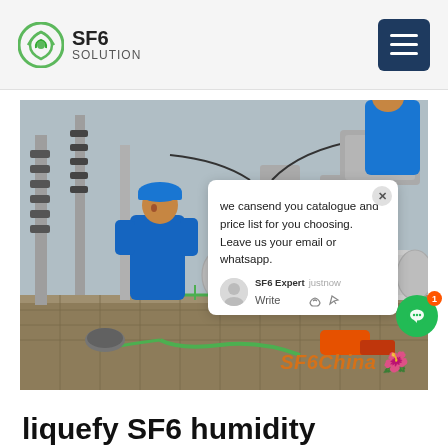SF6 SOLUTION
[Figure (photo): Workers in blue hard hats and blue coveralls working on large SF6 gas equipment pipes and valves at an outdoor electrical substation. SF6China watermark visible in bottom right.]
we cansend you catalogue and price list for you choosing. Leave us your email or whatsapp.
SF6 Expert   justnow
Write
liquefy SF6 humidity